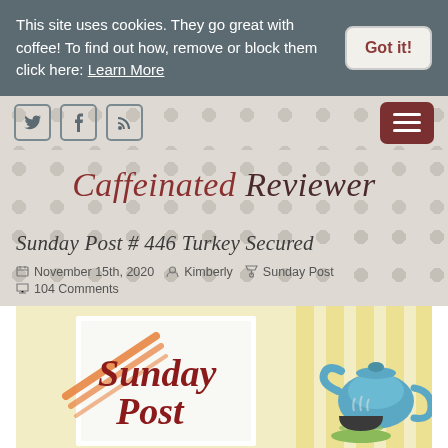This site uses cookies. They go great with coffee! To find out how, remove or block them click here: Learn More
Got it!
[Figure (screenshot): Navigation bar with Twitter, Facebook, RSS social icons on left and hamburger menu button on right]
Caffeinated Reviewer
Sunday Post # 446 Turkey Secured
November 15th, 2020  Kimberly  Sunday Post  104 Comments
[Figure (illustration): Sunday Post blog header illustration showing a teapot, coffee cup, and newspaper with text 'Sunday Post' in red lettering on a yellow and white background]